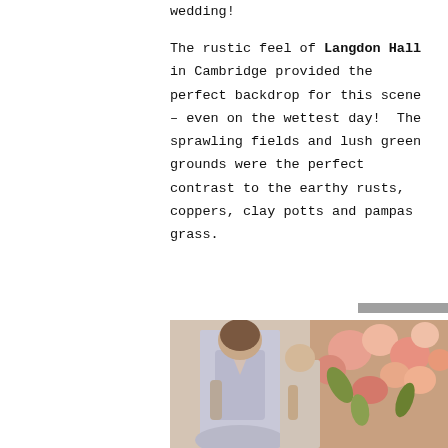wedding!
The rustic feel of Langdon Hall in Cambridge provided the perfect backdrop for this scene – even on the wettest day!  The sprawling fields and lush green grounds were the perfect contrast to the earthy rusts, coppers, clay potts and pampas grass.
[Figure (photo): Two women in elegant dresses, one in a light blue/grey gown, posing near a floral arrangement with peach and pink flowers in the background.]